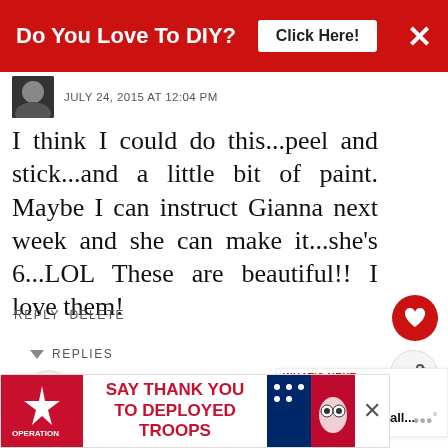[Figure (screenshot): Red ad banner at top: 'Do You Love To DIY? Click Here!' with close button]
JULY 24, 2015 AT 12:04 PM
I think I could do this...peel and stick...and a little bit of paint. Maybe I can instruct Gianna next week and she can make it...she's 6...LOL These are beautiful!! I love them!
REPLY DELETE
REPLIES
Kim
JULY 25, 2015 AT 10:07 PM
You can do this one without
[Figure (screenshot): Bottom ad: Operation Gratitude - SAY THANK YOU TO DEPLOYED TROOPS with patriotic imagery]
[Figure (screenshot): WHAT'S NEXT panel showing Splatter Screen Fall...]